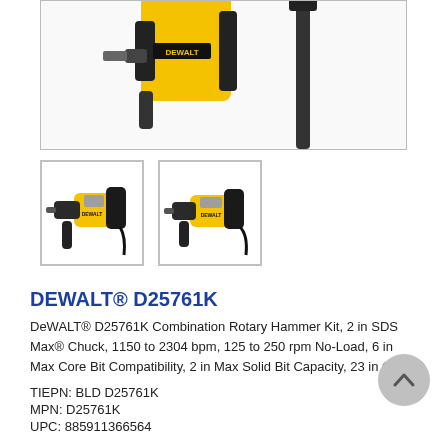[Figure (photo): Top portion of DeWALT rotary hammer product images — main large product view showing two drill/hammer tool angles against white background, partially cropped at top]
[Figure (photo): Thumbnail 1: DeWALT D25761K rotary hammer drill, yellow and black, side view with cord]
[Figure (photo): Thumbnail 2: DeWALT D25761K rotary hammer drill, yellow and black, slightly different angle with cord]
DEWALT® D25761K
DeWALT® D25761K Combination Rotary Hammer Kit, 2 in SDS Max® Chuck, 1150 to 2304 bpm, 125 to 250 rpm No-Load, 6 in Max Core Bit Compatibility, 2 in Max Solid Bit Capacity, 23 in OAL
TIEPN: BLD D25761K
MPN: D25761K
UPC: 885911366564